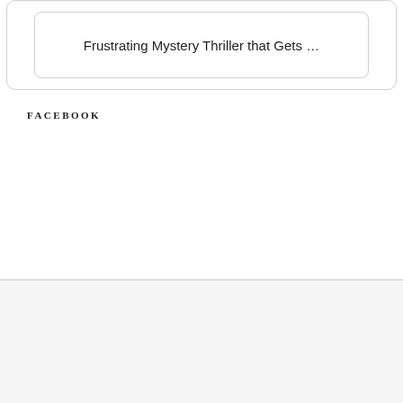Frustrating Mystery Thriller that Gets …
FACEBOOK
[Figure (other): Advertisement banner showing MAC cosmetics lipsticks in purple, pink, light pink, and red colors with MAC logo text and SHOP NOW button]
Advertisements